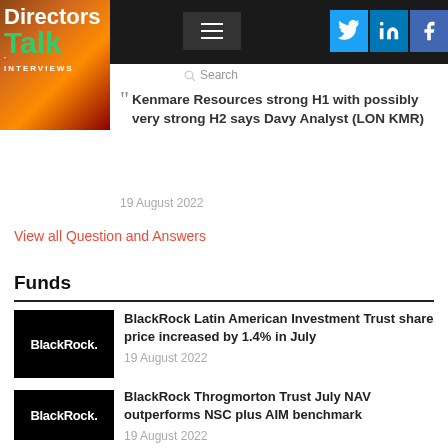[Figure (logo): DirectorsTalk Interviews logo with orange/red background]
[Figure (screenshot): Hamburger menu icon (three horizontal lines) on dark background]
Search
[Figure (infographic): Social share icons for Twitter, LinkedIn, and Facebook]
Kenmare Resources strong H1 with possibly very strong H2 says Davy Analyst (LON KMR)
19 August 2022
View all Question and Answers
Funds
[Figure (logo): BlackRock logo on black background]
BlackRock Latin American Investment Trust share price increased by 1.4% in July
19 August 2022
[Figure (logo): BlackRock logo on black background]
BlackRock Throgmorton Trust July NAV outperforms NSC plus AIM benchmark
19 August 2022